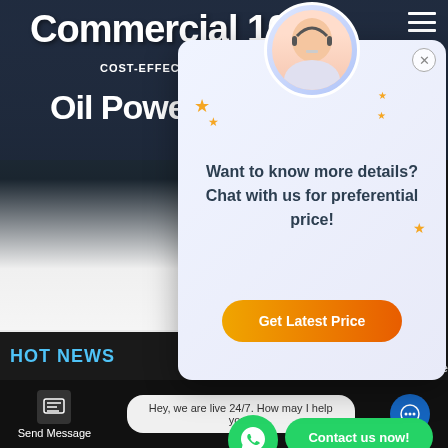[Figure (screenshot): Commercial boiler supplier website screenshot showing a chat popup overlay with a female customer service representative, orange 'Get Latest Price' button, navigation sidebar, and bottom chat bar. Text reads 'Commercial 10t Oil Powered Boiler' with WhatsApp contact button.]
Commercial 10t Oil Powered Boiler
Want to know more details? Chat with us for preferential price!
Get Latest Price
COST-EFFECTIVE BOILER SUPPLIER
QUOTE
Chat
Email
Contact
Contact us now!
HOT NEWS
Send Message
Hey, we are live 24/7. How may I help you?
Inquiry Online